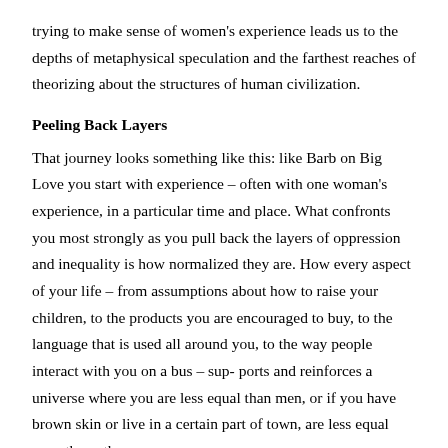trying to make sense of women's experience leads us to the depths of metaphysical speculation and the farthest reaches of theorizing about the structures of human civilization.
Peeling Back Layers
That journey looks something like this: like Barb on Big Love you start with experience – often with one woman's experience, in a particular time and place. What confronts you most strongly as you pull back the layers of oppression and inequality is how normalized they are. How every aspect of your life – from assumptions about how to raise your children, to the products you are encouraged to buy, to the language that is used all around you, to the way people interact with you on a bus – sup- ports and reinforces a universe where you are less equal than men, or if you have brown skin or live in a certain part of town, are less equal even than other